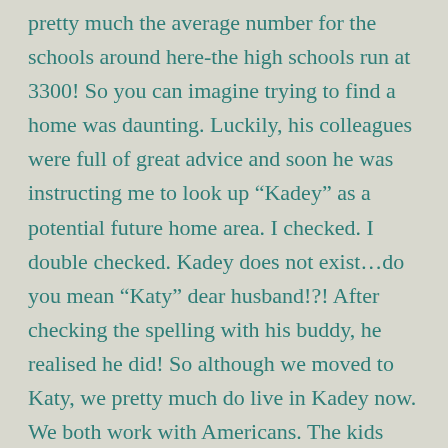pretty much the average number for the schools around here-the high schools run at 3300! So you can imagine trying to find a home was daunting. Luckily, his colleagues were full of great advice and soon he was instructing me to look up “Kadey” as a potential future home area. I checked. I double checked. Kadey does not exist…do you mean “Katy” dear husband!?! After checking the spelling with his buddy, he realised he did! So although we moved to Katy, we pretty much do live in Kadey now. We both work with Americans. The kids attend the local schools. My jobs here have always involved working with people where clear communication is essential so I use the American words like trash, soda and I have to admit that my previously crystal clear T’s in words like Saturday and butter have now slipped a liddle into D’s. Alex has